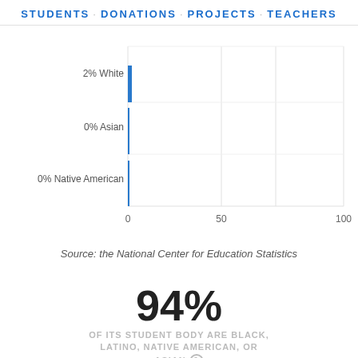STUDENTS · DONATIONS · PROJECTS · TEACHERS
[Figure (bar-chart): Student demographics by race]
Source: the National Center for Education Statistics
94%
OF ITS STUDENT BODY ARE BLACK, LATINO, NATIVE AMERICAN, OR ASIAN